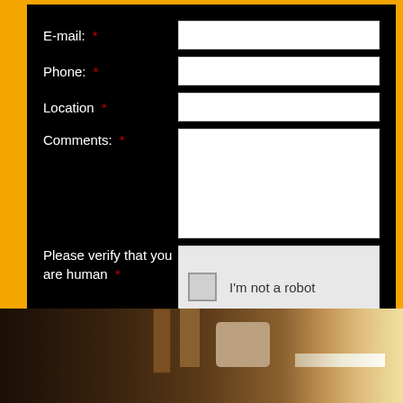E-mail: *
Phone: *
Location *
Comments: *
Please verify that you are human *
I'm not a robot
Submit
[Figure (photo): Dark interior photo showing pipes or cables on the left and a bright horizontal light strip on the right, possibly an electrical installation or utility area.]